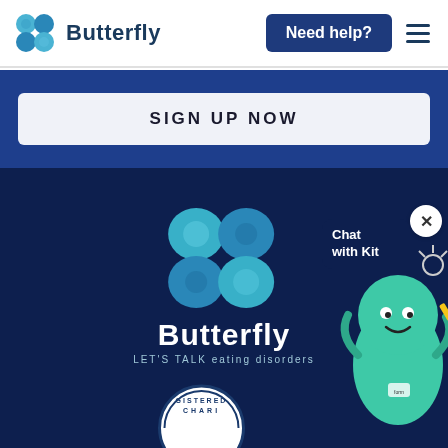Butterfly
Need help?
SIGN UP NOW
[Figure (logo): Butterfly logo with butterfly icon and tagline LET'S TALK eating disorders on dark navy background, with Chat with Kit widget showing green teardrop character]
[Figure (illustration): Registered Charity badge partially visible at bottom of page]